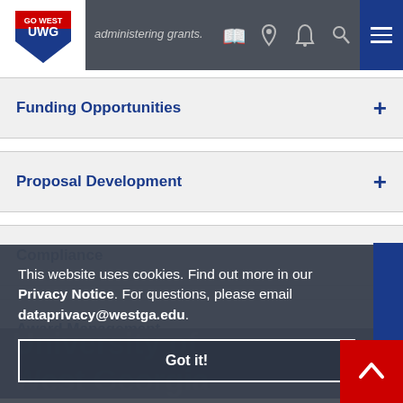administering grants.
Funding Opportunities
Proposal Development
Compliance
Award Management
Award Closeout
This website uses cookies. Find out more in our Privacy Notice. For questions, please email dataprivacy@westga.edu.
Got it!
University of West Georgia